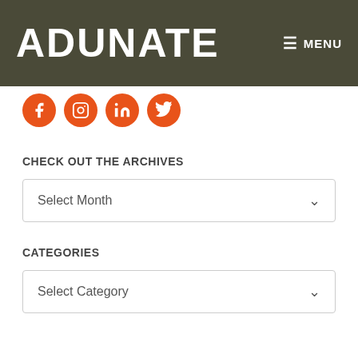ADUNATE   MENU
[Figure (illustration): Four orange circular social media icons: Facebook, Instagram, LinkedIn, Twitter]
CHECK OUT THE ARCHIVES
Select Month
CATEGORIES
Select Category